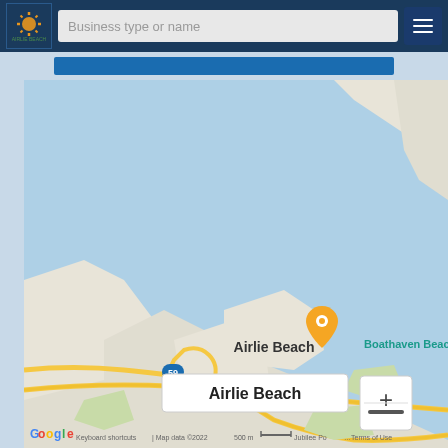[Figure (screenshot): Website header with logo, search bar saying 'Business type or name', and hamburger menu button on dark navy background]
[Figure (map): Google Maps screenshot showing Airlie Beach and Boathaven Beach in Queensland, Australia. An orange map pin is placed at Airlie Beach with a tooltip popup reading 'Airlie Beach'. A teal camera icon marks Boathaven Beach. Road 59 is visible. Map data ©2022, scale 500m. Zoom controls (+/-) visible at bottom right. Google logo and attribution at bottom.]